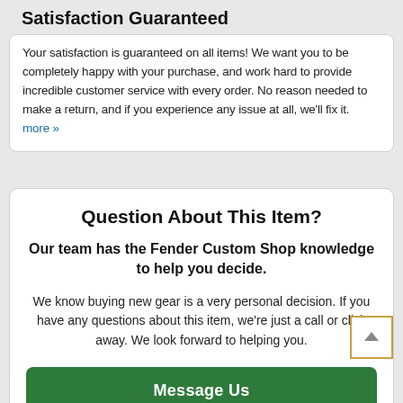Satisfaction Guaranteed
Your satisfaction is guaranteed on all items! We want you to be completely happy with your purchase, and work hard to provide incredible customer service with every order. No reason needed to make a return, and if you experience any issue at all, we'll fix it. more >>
Question About This Item?
Our team has the Fender Custom Shop knowledge to help you decide.
We know buying new gear is a very personal decision. If you have any questions about this item, we're just a call or click away. We look forward to helping you.
Message Us